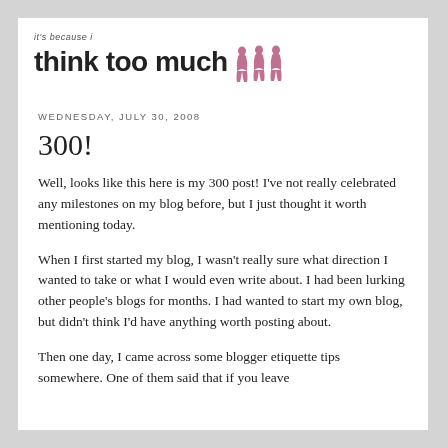it's because i think too much
WEDNESDAY, JULY 30, 2008
300!
Well, looks like this here is my 300 post! I've not really celebrated any milestones on my blog before, but I just thought it worth mentioning today.
When I first started my blog, I wasn't really sure what direction I wanted to take or what I would even write about. I had been lurking other people's blogs for months. I had wanted to start my own blog, but didn't think I'd have anything worth posting about.
Then one day, I came across some blogger etiquette tips somewhere. One of them said that if you leave